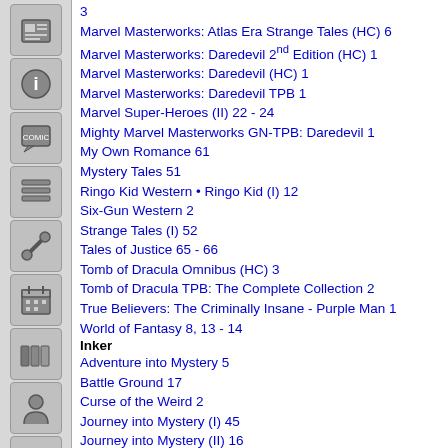3
Marvel Masterworks: Atlas Era Strange Tales (HC) 6
Marvel Masterworks: Daredevil 2nd Edition (HC) 1
Marvel Masterworks: Daredevil (HC) 1
Marvel Masterworks: Daredevil TPB 1
Marvel Super-Heroes (II) 22 - 24
Mighty Marvel Masterworks GN-TPB: Daredevil 1
My Own Romance 61
Mystery Tales 51
Ringo Kid Western • Ringo Kid (I) 12
Six-Gun Western 2
Strange Tales (I) 52
Tales of Justice 65 - 66
Tomb of Dracula Omnibus (HC) 3
Tomb of Dracula TPB: The Complete Collection 2
True Believers: The Criminally Insane - Purple Man 1
World of Fantasy 8, 13 - 14
Inker
Adventure into Mystery 5
Battle Ground 17
Curse of the Weird 2
Journey into Mystery (I) 45
Journey into Mystery (II) 16
Journey into Unknown Worlds (I) 44, 57
Marvel Masterworks: Atlas Era Strange Tales (HC) 6
My Own Romance 61
Mystery Tales 51